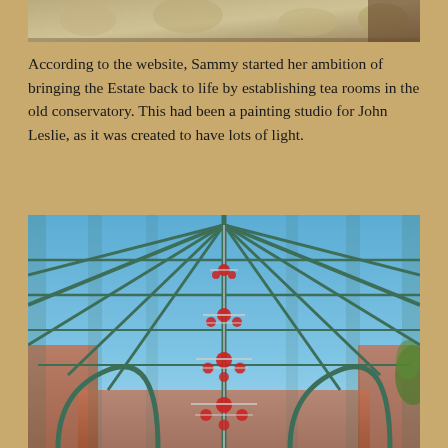[Figure (photo): Partial view of a decorative interior surface, likely wallpaper or fabric with floral pattern, cropped at top of page]
According to the website, Sammy started her ambition of bringing the Estate back to life by establishing tea rooms in the old conservatory. This had been a painting studio for John Leslie, as it was created to have lots of light.
[Figure (photo): Interior view of a Victorian-style conservatory with ornate green iron arched roof structure and glass panels. A decorative chandelier or ornament with red balls hangs from the centre ridge. Stone arched walls visible at the base.]